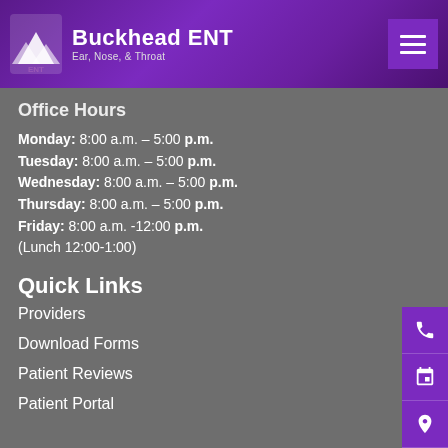[Figure (logo): Buckhead ENT logo with mountain/triangle icon and text 'Buckhead ENT, Ear, Nose, & Throat' on purple gradient header with hamburger menu button]
Office Hours
Monday: 8:00 a.m. – 5:00 p.m.
Tuesday: 8:00 a.m. – 5:00 p.m.
Wednesday: 8:00 a.m. – 5:00 p.m.
Thursday: 8:00 a.m. – 5:00 p.m.
Friday: 8:00 a.m. -12:00 p.m.
(Lunch 12:00-1:00)
Quick Links
Providers
Download Forms
Patient Reviews
Patient Portal